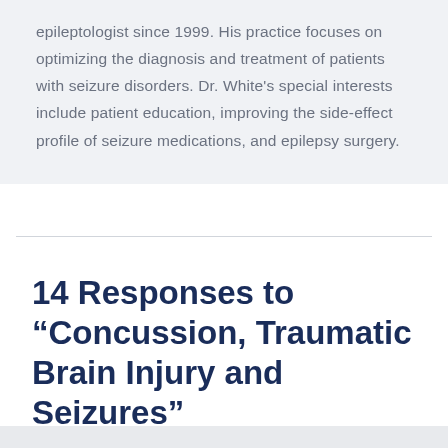epileptologist since 1999. His practice focuses on optimizing the diagnosis and treatment of patients with seizure disorders. Dr. White's special interests include patient education, improving the side-effect profile of seizure medications, and epilepsy surgery.
14 Responses to “Concussion, Traumatic Brain Injury and Seizures”